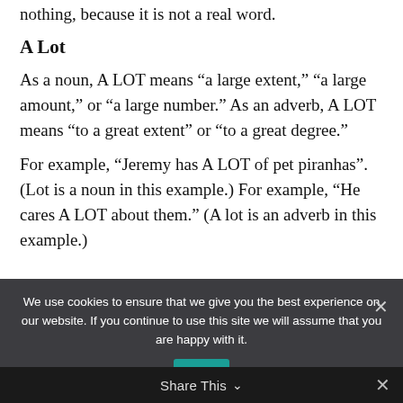nothing, because it is not a real word.
A Lot
As a noun, A LOT means “a large extent,” “a large amount,” or “a large number.” As an adverb, A LOT means “to a great extent” or “to a great degree.”
For example, “Jeremy has A LOT of pet piranhas”. (Lot is a noun in this example.) For example, “He cares A LOT about them.” (A lot is an adverb in this example.)
We use cookies to ensure that we give you the best experience on our website. If you continue to use this site we will assume that you are happy with it.
Share This